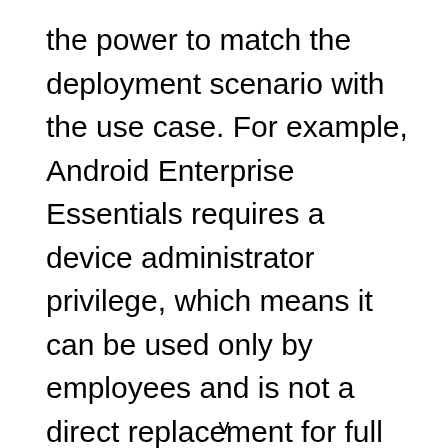the power to match the deployment scenario with the use case. For example, Android Enterprise Essentials requires a device administrator privilege, which means it can be used only by employees and is not a direct replacement for full functionality via MDM or UEM suites.
v